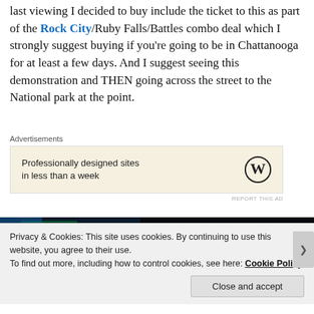last viewing I decided to buy include the ticket to this as part of the Rock City/Ruby Falls/Battles combo deal which I strongly suggest buying if you're going to be in Chattanooga for at least a few days. And I suggest seeing this demonstration and THEN going across the street to the National park at the point.
Advertisements
[Figure (other): WordPress advertisement banner: 'Professionally designed sites in less than a week' with WordPress logo]
[Figure (photo): Dark photo strip showing colorful nighttime image, partially obscured by cookie banner]
Privacy & Cookies: This site uses cookies. By continuing to use this website, you agree to their use.
To find out more, including how to control cookies, see here: Cookie Policy
Close and accept